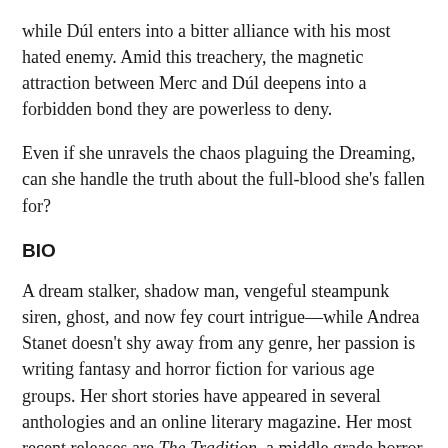while Dúl enters into a bitter alliance with his most hated enemy. Amid this treachery, the magnetic attraction between Merc and Dúl deepens into a forbidden bond they are powerless to deny.
Even if she unravels the chaos plaguing the Dreaming, can she handle the truth about the full-blood she's fallen for?
BIO
A dream stalker, shadow man, vengeful steampunk siren, ghost, and now fey court intrigue—while Andrea Stanet doesn't shy away from any genre, her passion is writing fantasy and horror fiction for various age groups. Her short stories have appeared in several anthologies and an online literary magazine. Her most recent releases are The Tradition, a middle grade horror about were-crows, and Song of Vengeance, about a young performer whose father traps her dying spirit in a mechanical bird.